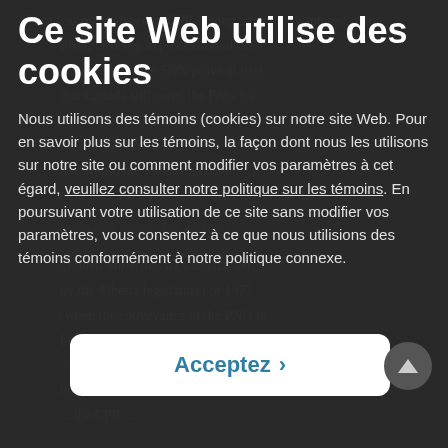There was no evidence of CPR having any current interest in the PNG, or being in possession of the PNG. Even if the SNN prove at trial that Canada still owns the PNG for their benefit, or that ownership of the PNG reverted back to the SNN, that would not include a future om (and the CPR). The patent of the branch was found (and the Canadian Pacific Oil and Gas Limited Minerals Act was enacted by the Alberta legislature) or 1977 (when the conveyance of the PNG to Encana's predecessor was registered). Jeffrey J. concluded that only one of three possibilities ... the CPR...
Ce site Web utilise des cookies
Nous utilisons des témoins (cookies) sur notre site Web. Pour en savoir plus sur les témoins, la façon dont nous les utilisons sur notre site ou comment modifier vos paramètres à cet égard, veuillez consulter notre politique sur les témoins. En poursuivant votre utilisation de ce site sans modifier vos paramètres, vous consentez à ce que nous utilisions des témoins conformément à notre politique connexe.
Acceptez